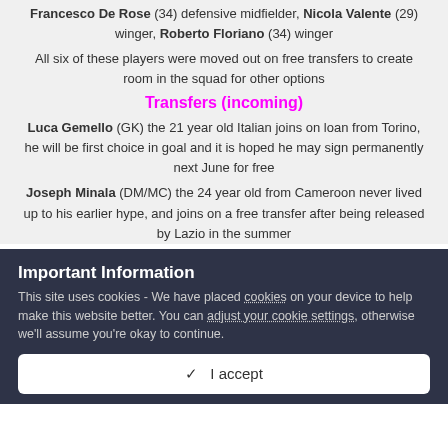Francesco De Rose (34) defensive midfielder, Nicola Valente (29) winger, Roberto Floriano (34) winger
All six of these players were moved out on free transfers to create room in the squad for other options
Transfers (incoming)
Luca Gemello (GK) the 21 year old Italian joins on loan from Torino, he will be first choice in goal and it is hoped he may sign permanently next June for free
Joseph Minala (DM/MC) the 24 year old from Cameroon never lived up to his earlier hype, and joins on a free transfer after being released by Lazio in the summer
Important Information
This site uses cookies - We have placed cookies on your device to help make this website better. You can adjust your cookie settings, otherwise we'll assume you're okay to continue.
✓  I accept